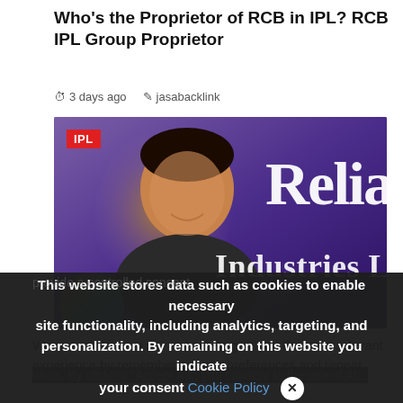Who's the Proprietor of RCB in IPL? RCB IPL Group Proprietor
3 days ago  jasabacklink
[Figure (photo): Photo of a man (Mukesh Ambani) smiling, in front of a purple Reliance Industries banner with 'IPL' red badge in the top left corner. Reliance Industries Limited text visible on the right side of the image.]
We use cookies on our website to give you the most relevant experience by remembering your preferences and repeat visits. By clicking "Accept All", you consent to the use of ALL the cookies. However, you may visit "Cookie Settings" to provide a controlled consent.
This website stores data such as cookies to enable necessary site functionality, including analytics, targeting, and personalization. By remaining on this website you indicate your consent Cookie Policy  ✕